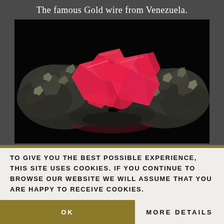The famous Gold wire from Venezuela.
[Figure (photo): Photograph of a mineral specimen featuring bright pink/red rhodochrosite crystals surrounded by dark metallic pyrite matrix, displayed against a black background.]
TO GIVE YOU THE BEST POSSIBLE EXPERIENCE, THIS SITE USES COOKIES. IF YOU CONTINUE TO BROWSE OUR WEBSITE WE WILL ASSUME THAT YOU ARE HAPPY TO RECEIVE COOKIES.
OK
MORE DETAILS